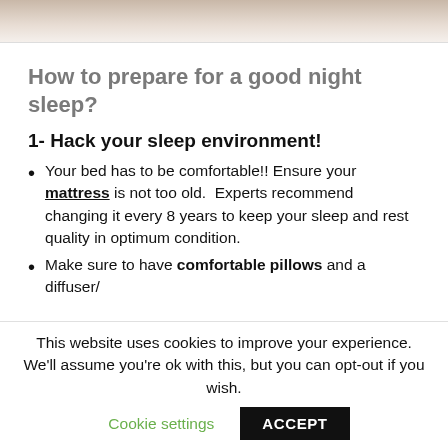[Figure (photo): Partial photo strip at top of page showing a bedroom/pillow scene]
How to prepare for a good night sleep?
1- Hack your sleep environment!
Your bed has to be comfortable!! Ensure your mattress is not too old. Experts recommend changing it every 8 years to keep your sleep and rest quality in optimum condition.
Make sure to have comfortable pillows and a diffuser/
This website uses cookies to improve your experience. We'll assume you're ok with this, but you can opt-out if you wish.
Cookie settings   ACCEPT